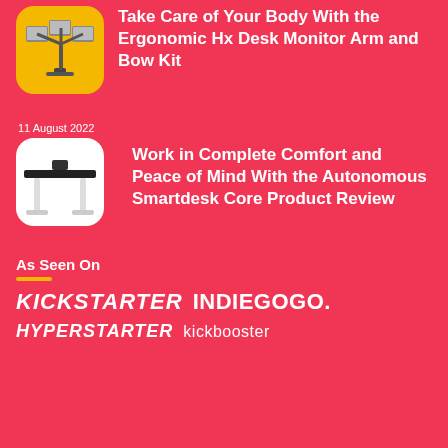[Figure (illustration): Yellow rounded square icon with monitor arm holding three monitors]
Take Care of Your Body With the Ergonomic Hx Desk Monitor Arm and Bow Kit
11 August 2022
[Figure (photo): White standing desk with black top on white background, rounded square photo]
Work in Complete Comfort and Peace of Mind With the Autonomous Smartdesk Core Product Review
As Seen On
[Figure (logo): Kickstarter logo in white italic bold]
[Figure (logo): Indiegogo logo in white bold]
[Figure (logo): Hyperstarter logo in white italic bold]
[Figure (logo): kickbooster logo in white regular]